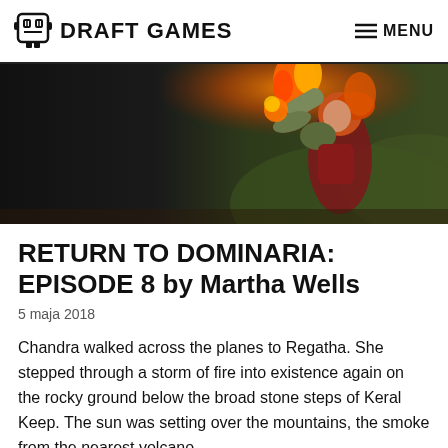DRAFT GAMES   MENU
[Figure (illustration): Fantasy illustration of a red-haired female warrior in armor conjuring fire/flames against a rocky outdoor background]
RETURN TO DOMINARIA: EPISODE 8 by Martha Wells
5 maja 2018
Chandra walked across the planes to Regatha. She stepped through a storm of fire into existence again on the rocky ground below the broad stone steps of Keral Keep. The sun was setting over the mountains, the smoke from the nearest volcano